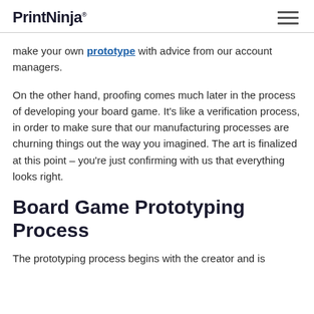PrintNinja
make your own prototype with advice from our account managers.
On the other hand, proofing comes much later in the process of developing your board game. It's like a verification process, in order to make sure that our manufacturing processes are churning things out the way you imagined. The art is finalized at this point – you're just confirming with us that everything looks right.
Board Game Prototyping Process
The prototyping process begins with the creator and is